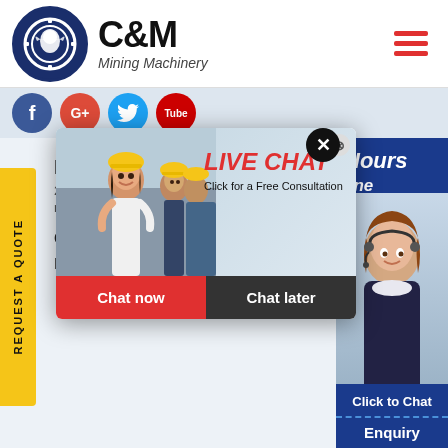[Figure (logo): C&M Mining Machinery logo with eagle/gear icon on left and company name text on right]
[Figure (infographic): Social media icons: Facebook (blue), Google+ (red), Twitter (cyan), YouTube (red)]
REQUEST A QUOTE
Location
201 Huaxi
na
CONT...
bilkalm@gmail.com
[Figure (infographic): Right side panel showing 'Hours' and 'line' text in white italic on dark blue background, with customer service representative photo below and 'Click to Chat' button]
[Figure (infographic): Live chat popup overlay showing workers in hard hats, 'LIVE CHAT' title in red italic, 'Click for a Free Consultation' subtitle, and Chat now / Chat later buttons]
Click to Chat
Enquiry